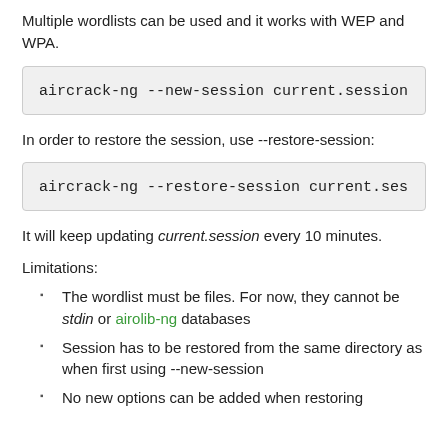Multiple wordlists can be used and it works with WEP and WPA.
aircrack-ng --new-session current.session
In order to restore the session, use --restore-session:
aircrack-ng --restore-session current.ses
It will keep updating current.session every 10 minutes.
Limitations:
The wordlist must be files. For now, they cannot be stdin or airolib-ng databases
Session has to be restored from the same directory as when first using --new-session
No new options can be added when restoring